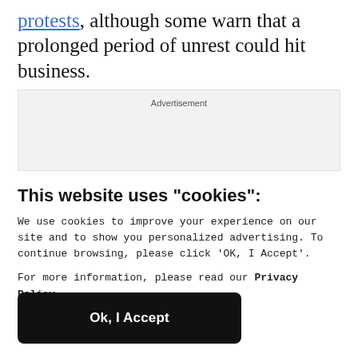protests, although some warn that a prolonged period of unrest could hit business.
[Figure (other): Advertisement placeholder box]
This website uses "cookies":
We use cookies to improve your experience on our site and to show you personalized advertising. To continue browsing, please click ‘OK, I Accept’.
For more information, please read our Privacy Policy
Ok, I Accept